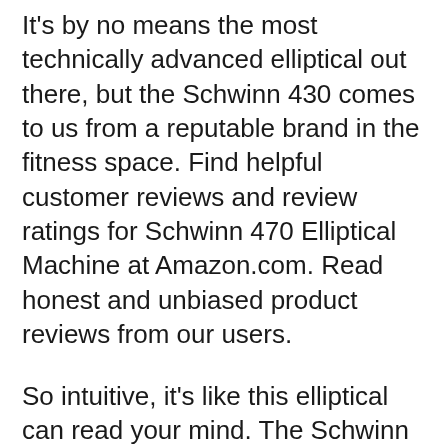It's by no means the most technically advanced elliptical out there, but the Schwinn 430 comes to us from a reputable brand in the fitness space. Find helpful customer reviews and review ratings for Schwinn 470 Elliptical Machine at Amazon.com. Read honest and unbiased product reviews from our users.
So intuitive, it's like this elliptical can read your mind. The Schwinn ® 470 Elliptical is our top-of-the-line trainer, due to its premium quality, fluid motion and innovative features. Every inch of the Schwinn ® 470 is designed to keep you inspired and motivated—from Explore the World™ compatibility to